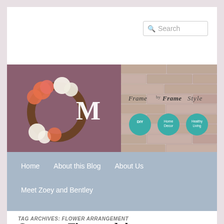[Figure (screenshot): Search bar in top right of blog header]
[Figure (photo): Blog banner with two panels: left shows a grapevine wreath with flowers and letter M on a mauve door, right shows brick wall background with 'Frame by Frame Style' text and three teal circles labeled DIY, Home Decor, Healthy Living]
Home   About this Blog   About Us
Meet Zoey and Bentley
TAG ARCHIVES: FLOWER ARRANGEMENT
Summer Time and the